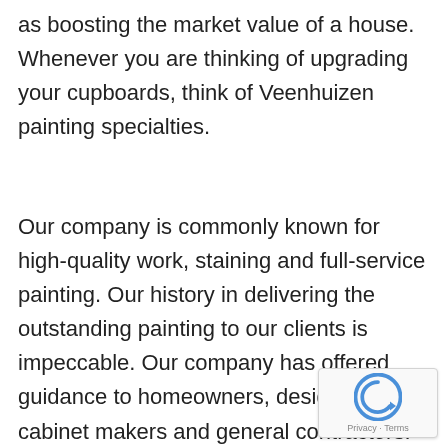as boosting the market value of a house. Whenever you are thinking of upgrading your cupboards, think of Veenhuizen painting specialties.
Our company is commonly known for high-quality work, staining and full-service painting. Our history in delivering the outstanding painting to our clients is impeccable. Our company has offered guidance to homeowners, designers, cabinet makers and general contractors. Over the decades, the company has acquired sufficient knowledge to handle the projects efficiently.